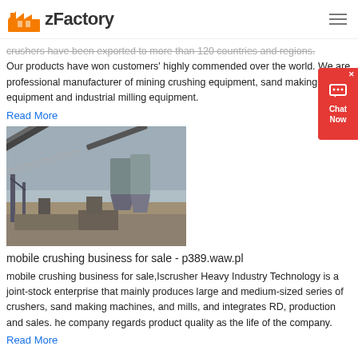zFactory
crushers have been exported to more than 120 countries and regions. Our products have won customers' highly commended over the world. We are professional manufacturer of mining crushing equipment, sand making equipment and industrial milling equipment.
Read More
[Figure (photo): Industrial conveyor belt and crushing equipment at a mining facility, showing inclined conveyors, silos, and outdoor processing machinery.]
mobile crushing business for sale - p389.waw.pl
mobile crushing business for sale,Iscrusher Heavy Industry Technology is a joint-stock enterprise that mainly produces large and medium-sized series of crushers, sand making machines, and mills, and integrates RD, production and sales. he company regards product quality as the life of the company.
Read More